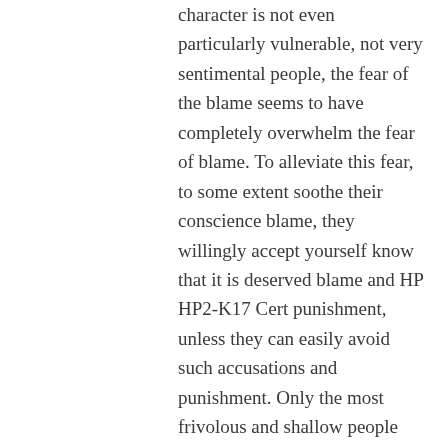character is not even particularly vulnerable, not very sentimental people, the fear of the blame seems to have completely overwhelm the fear of blame. To alleviate this fear, to some extent soothe their conscience blame, they willingly accept yourself know that it is deserved blame and HP HP2-K17 Cert punishment, unless they can easily avoid such accusations and punishment. Only the most frivolous and shallow people themselves know because that should give praise and happy exception. However, even for abnormal firm will of